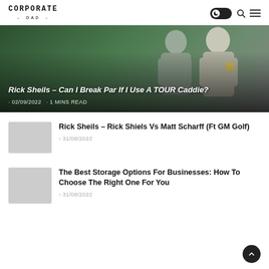CORPORATE
- DAD -
[Figure (photo): Hero image showing two people, one in a grey polo shirt with arms crossed, green background. Overlay text: Rick Sheils – Can I Break Par If I Use A TOUR Caddie? with date 02/09/2022 and 1 MINS READ]
Rick Sheils – Rick Shiels Vs Matt Scharff (Ft GM Golf)
31/08/2022
The Best Storage Options For Businesses: How To Choose The Right One For You
31/08/2022